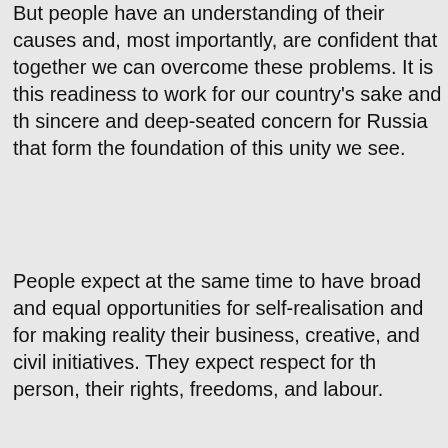But people have an understanding of their causes and, most importantly, are confident that together we can overcome these problems. It is this readiness to work for our country's sake and the sincere and deep-seated concern for Russia that form the foundation of this unity we see.
People expect at the same time to have broad and equal opportunities for self-realisation and for making reality their business, creative, and civil initiatives. They expect respect for the person, their rights, freedoms, and labour.
The principles of justice, respect, and trust are universal. We are consistent in defending these principles on the international stage and, as we see, not without result. But we must put the same effort into guaranteeing these principles here at home, with regard to every individual and to society as a whole.
People take any injustice and untruth very much to heart. This is a distinguishing feature of our culture in general. Our society resolutely rejects arrogance, conceit, insolence and selfishness